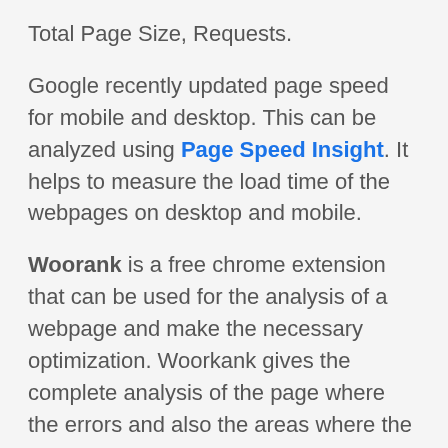Total Page Size, Requests.
Google recently updated page speed for mobile and desktop. This can be analyzed using Page Speed Insight. It helps to measure the load time of the webpages on desktop and mobile.
Woorank is a free chrome extension that can be used for the analysis of a webpage and make the necessary optimization. Woorkank gives the complete analysis of the page where the errors and also the areas where the improvements are required and as well as the passed areas in which the optimization is done perfectly.
Woorank can be added as an